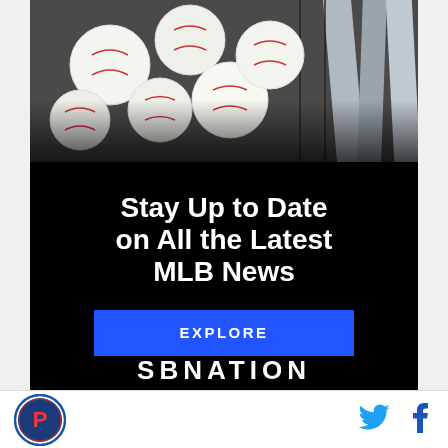[Figure (photo): Close-up photo of white baseballs and metal bats in a dark cage/container]
Stay Up to Date on All the Latest MLB News
EXPLORE
[Figure (logo): SBNation logo in white text on black background]
[Figure (logo): Philadelphia Phillies circular team logo]
[Figure (other): Twitter bird icon in cyan blue]
[Figure (other): Facebook f icon in dark blue]